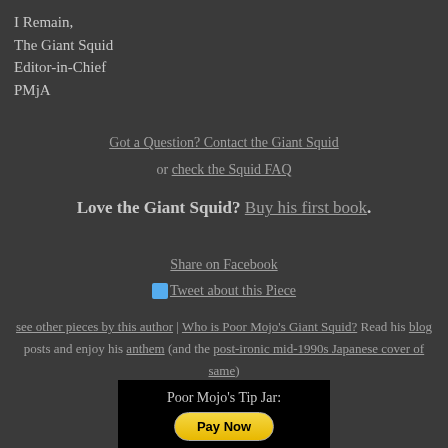I Remain,
The Giant Squid
Editor-in-Chief
PMjA
Got a Question? Contact the Giant Squid or check the Squid FAQ
Love the Giant Squid? Buy his first book.
Share on Facebook
Tweet about this Piece
see other pieces by this author | Who is Poor Mojo's Giant Squid? Read his blog posts and enjoy his anthem (and the post-ironic mid-1990s Japanese cover of same)
[Figure (other): Poor Mojo's Tip Jar section with black background, label 'Poor Mojo's Tip Jar:' and a yellow Pay Now button]